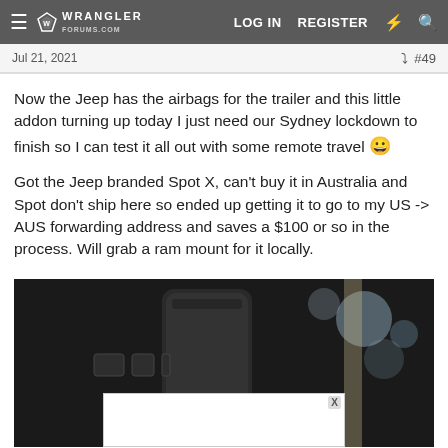Wrangler Forums | LOG IN  REGISTER
Jul 21, 2021  #49
Now the Jeep has the airbags for the trailer and this little addon turning up today I just need our Sydney lockdown to finish so I can test it all out with some remote travel 🙂
Got the Jeep branded Spot X, can't buy it in Australia and Spot don't ship here so ended up getting it to go to my US -> AUS forwarding address and saves a $100 or so in the process. Will grab a ram mount for it locally.
[Figure (photo): Dark photo of a cylindrical black device (Spot X satellite communicator) on a surface with blurred bokeh lights in background. An ad overlay is visible at the bottom.]